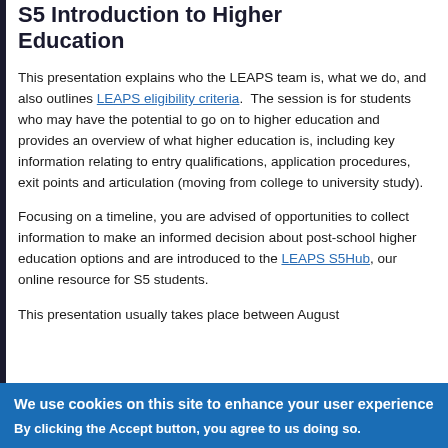S5 Introduction to Higher Education
This presentation explains who the LEAPS team is, what we do, and also outlines LEAPS eligibility criteria.  The session is for students who may have the potential to go on to higher education and provides an overview of what higher education is, including key information relating to entry qualifications, application procedures, exit points and articulation (moving from college to university study).
Focusing on a timeline, you are advised of opportunities to collect information to make an informed decision about post-school higher education options and are introduced to the LEAPS S5Hub, our online resource for S5 students.
This presentation usually takes place between August
We use cookies on this site to enhance your user experience
By clicking the Accept button, you agree to us doing so.